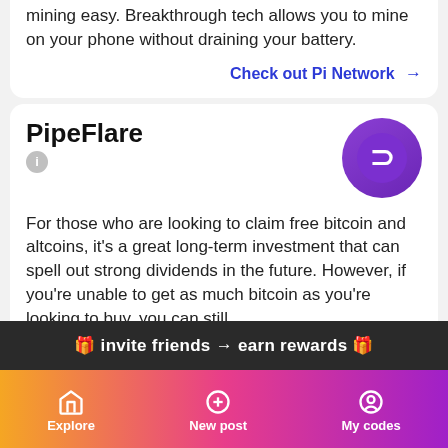mining easy. Breakthrough tech allows you to mine on your phone without draining your battery.
Check out Pi Network →
PipeFlare
[Figure (logo): PipeFlare purple circular logo with white D-shaped arrow symbol]
For those who are looking to claim free bitcoin and altcoins, it's a great long-term investment that can spell out strong dividends in the future. However, if you're unable to get as much bitcoin as you're looking to buy, you can still…
Check out PipeFlare →
🎁 invite friends → earn rewards 🎁
Explore   New post   My codes